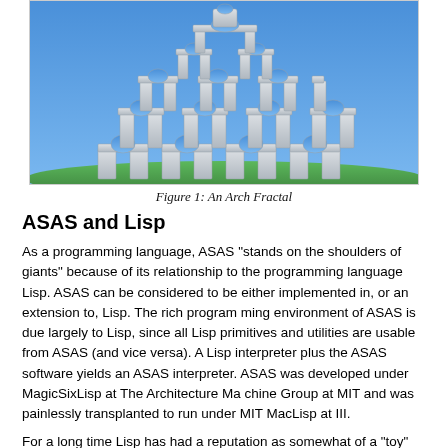[Figure (illustration): A 3D rendered image of an arch fractal structure — a tower of arches built recursively, white/grey stone color, blue sky background, green ground at base. Resembles a gothic or Islamic arch fractal repeated at multiple scales.]
Figure 1: An Arch Fractal
ASAS and Lisp
As a programming language, ASAS "stands on the shoulders of giants" because of its relationship to the programming language Lisp. ASAS can be considered to be either implemented in, or an extension to, Lisp. The rich program ming environment of ASAS is due largely to Lisp, since all Lisp primitives and utilities are usable from ASAS (and vice versa). A Lisp interpreter plus the ASAS software yields an ASAS interpreter. ASAS was developed under MagicSixLisp at The Architecture Ma chine Group at MIT and was painlessly transplanted to run under MIT MacLisp at III.
For a long time Lisp has had a reputation as somewhat of a "toy"